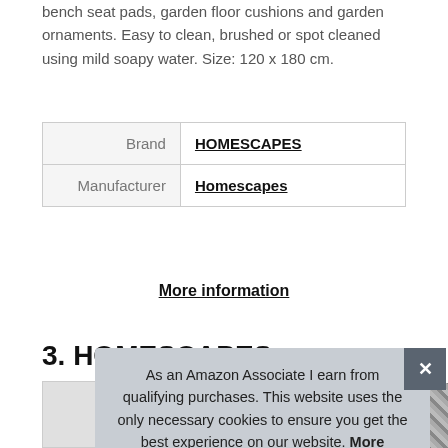bench seat pads, garden floor cushions and garden ornaments. Easy to clean, brushed or spot cleaned using mild soapy water. Size: 120 x 180 cm.
| Brand | HOMESCAPES |
| Manufacturer | Homescapes |
More information
3. HOMESCAPES
As an Amazon Associate I earn from qualifying purchases. This website uses the only necessary cookies to ensure you get the best experience on our website. More information